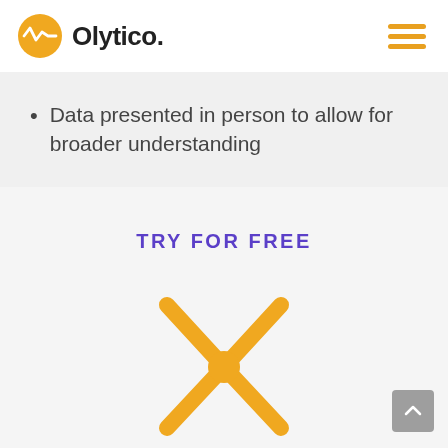[Figure (logo): Olytico logo: orange circle with white waveform/analytics icon, followed by bold text 'Olytico.']
[Figure (other): Hamburger menu icon — three horizontal orange bars]
Data presented in person to allow for broader understanding
TRY FOR FREE
[Figure (other): Orange starburst / asterisk icon with a circle in the center — decorative graphic]
[Figure (other): Back to top button — grey rounded square with white upward chevron arrow]